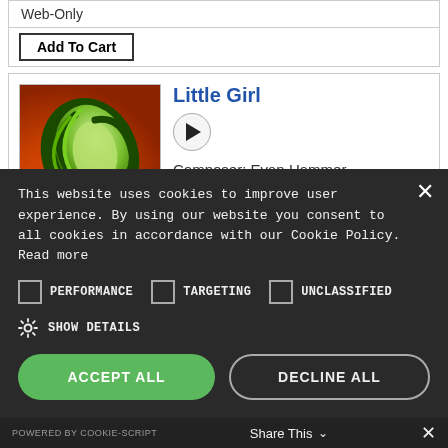Web-Only
Add To Cart
Little Girl
[Figure (illustration): Album art showing green leaf/swirl design on gradient orange-red background]
Composer: Evan Hammer
A song about a manipulative girl - while trying to protect her because she seems
This website uses cookies to improve user experience. By using our website you consent to all cookies in accordance with our Cookie Policy. Read more
PERFORMANCE
TARGETING
UNCLASSIFIED
SHOW DETAILS
ACCEPT ALL
DECLINE ALL
POWERED BY COOKIE-SCRIPT   Share This   ✕